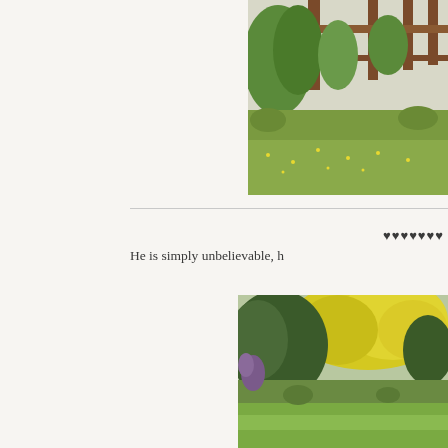[Figure (photo): Outdoor garden scene showing wooden fence/pergola structure with green lawn and small yellow flowers in the background]
♥♥♥♥♥♥♥
He is simply unbelievable, h
[Figure (photo): Garden scene with bright yellow flowering shrub, green foliage, and a well-maintained lawn in the lower portion]